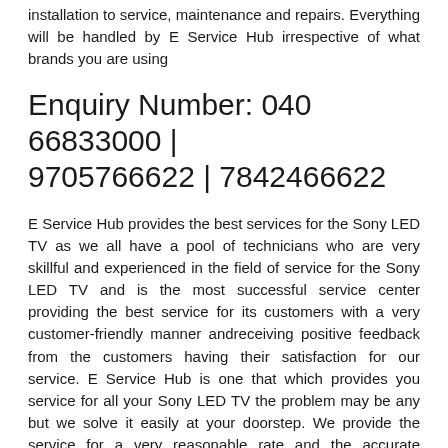installation to service, maintenance and repairs. Everything will be handled by E Service Hub irrespective of what brands you are using
Enquiry Number: 040 66833000 | 9705766622 | 7842466622
E Service Hub provides the best services for the Sony LED TV as we all have a pool of technicians who are very skillful and experienced in the field of service for the Sony LED TV and is the most successful service center providing the best service for its customers with a very customer-friendly manner andreceiving positive feedback from the customers having their satisfaction for our service. E Service Hub is one that which provides you service for all your Sony LED TV the problem may be any but we solve it easily at your doorstep. We provide the service for a very reasonable rate and the accurate remedy for the repair of your product. E Service Hub provides the services at your doorstep all you need to do is just ping us when you need us and we will be there at your door step in no time.